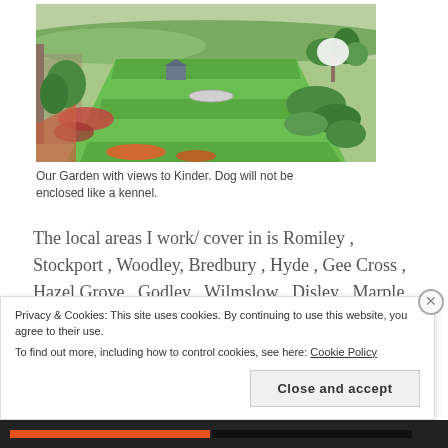[Figure (photo): Aerial view of a large well-maintained garden with green lawns, flower beds, trees, and views to Kinder in the background]
Our Garden with views to Kinder. Dog will not be enclosed like a kennel.
The local areas I work/ cover in is Romiley , Stockport , Woodley, Bredbury , Hyde , Gee Cross , Hazel Grove , Godley , Wilmslow , Disley , Marple , Marple Bridge, Cheadle, Bramhall, High...
Privacy & Cookies: This site uses cookies. By continuing to use this website, you agree to their use.
To find out more, including how to control cookies, see here: Cookie Policy
Close and accept